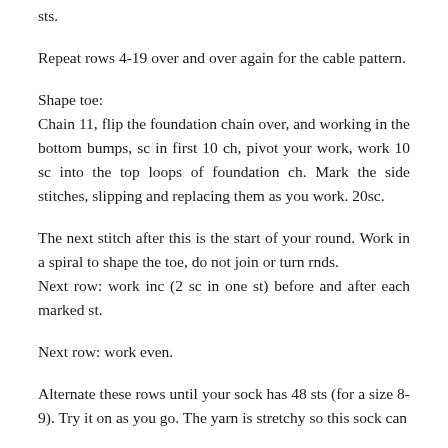sts.
Repeat rows 4-19 over and over again for the cable pattern.
Shape toe:
Chain 11, flip the foundation chain over, and working in the bottom bumps, sc in first 10 ch, pivot your work, work 10 sc into the top loops of foundation ch. Mark the side stitches, slipping and replacing them as you work. 20sc.
The next stitch after this is the start of your round. Work in a spiral to shape the toe, do not join or turn rnds.
Next row: work inc (2 sc in one st) before and after each marked st.
Next row: work even.
Alternate these rows until your sock has 48 sts (for a size 8-9). Try it on as you go. The yarn is stretchy so this sock can